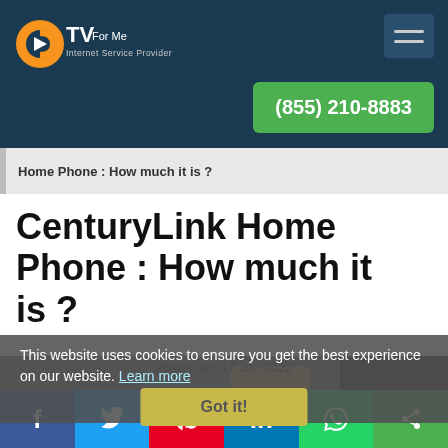CTV For Me - Internet Service Providers — navigation header with phone number (855) 210-8883
Home Phone : How much it is ?
CenturyLink Home Phone : How much it is ?
Posted on: 17 Jun 2022
This website uses cookies to ensure you get the best experience on our website. Learn more
[Figure (photo): Person pressing a keyboard key, article photo background]
Social share bar: Facebook, Twitter, Pinterest, LinkedIn, WhatsApp, Share